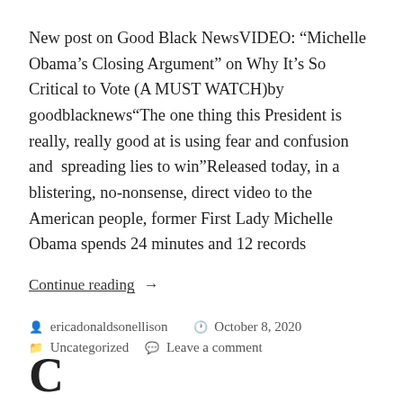New post on Good Black NewsVIDEO: “Michelle Obama’s Closing Argument” on Why It’s So Critical to Vote (A MUST WATCH)by goodblacknews“The one thing this President is really, really good at is using fear and confusion and  spreading lies to win”Released today, in a blistering, no-nonsense, direct video to the American people, former First Lady Michelle Obama spends 24 minutes and 12 records
Continue reading  →
ericadonaldsonellison   October 8, 2020
Uncategorized   Leave a comment
C